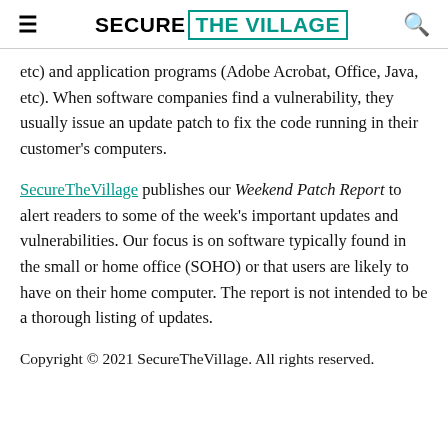SECURE THE VILLAGE
etc) and application programs (Adobe Acrobat, Office, Java, etc). When software companies find a vulnerability, they usually issue an update patch to fix the code running in their customer's computers.
SecureTheVillage publishes our Weekend Patch Report to alert readers to some of the week's important updates and vulnerabilities. Our focus is on software typically found in the small or home office (SOHO) or that users are likely to have on their home computer. The report is not intended to be a thorough listing of updates.
Copyright © 2021 SecureTheVillage. All rights reserved.